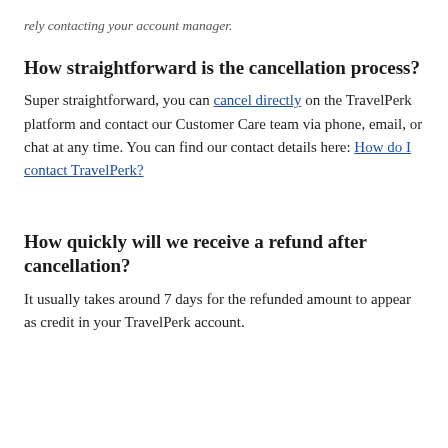rely contacting your account manager.
How straightforward is the cancellation process?
Super straightforward, you can cancel directly on the TravelPerk platform and contact our Customer Care team via phone, email, or chat at any time. You can find our contact details here: How do I contact TravelPerk?
How quickly will we receive a refund after cancellation?
It usually takes around 7 days for the refunded amount to appear as credit in your TravelPerk account.